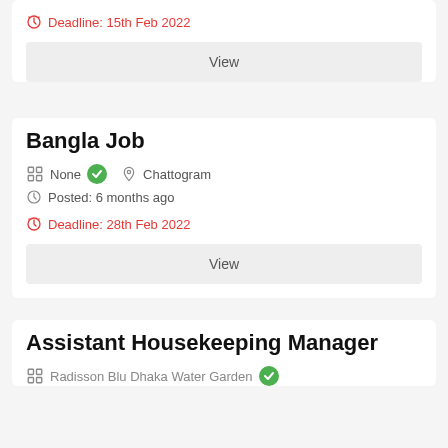Deadline: 15th Feb 2022
View
Bangla Job
None  Chattogram
Posted: 6 months ago
Deadline: 28th Feb 2022
View
Assistant Housekeeping Manager
Radisson Blu Dhaka Water Garden